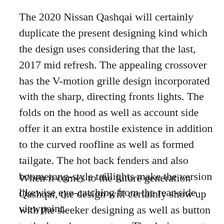The 2020 Nissan Qashqai will certainly duplicate the present designing kind which the design uses considering that the last, 2017 mid refresh. The appealing crossover has the V-motion grille design incorporated with the sharp, directing fronts lights. The folds on the hood as well as account side offer it an extra hostile existence in addition to the curved roofline as well as formed tailgate. The hot back fenders and also boomerang-style taillights make the version likewise eye-catching from the rear-side viewpoint.
When it comes to the future generation Qashqai, the design will certainly show up with the sleeker designing as well as button to the brand-new system. The design must remain in comparable measurements while the brand-new Typical